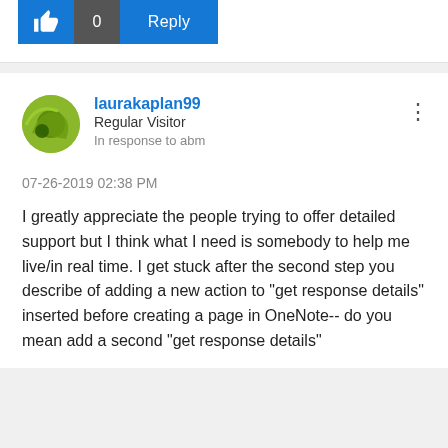[Figure (screenshot): Action bar with thumbs-up like button (blue), count of 0 (dark gray), and Reply button (blue)]
laurakaplan99
Regular Visitor
In response to abm
07-26-2019 02:38 PM
I greatly appreciate the people trying to offer detailed support but I think what I need is somebody to help me live/in real time.  I get stuck after the second step you describe of adding a new action to "get response details" inserted before creating a page in OneNote-- do you mean add a second "get response details"